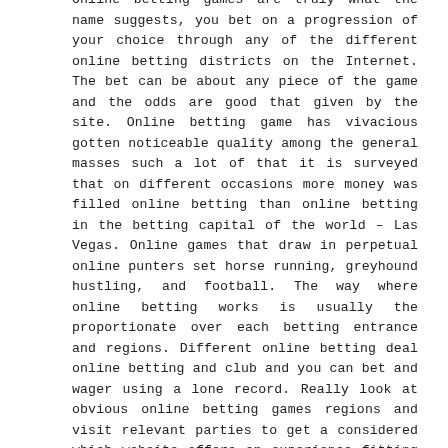Online betting games are truly what the name suggests, you bet on a progression of your choice through any of the different online betting districts on the Internet. The bet can be about any piece of the game and the odds are good that given by the site. Online betting game has vivacious gotten noticeable quality among the general masses such a lot of that it is surveyed that on different occasions more money was filled online betting than online betting in the betting capital of the world – Las Vegas. Online games that draw in perpetual online punters set horse running, greyhound hustling, and football. The way where online betting works is usually the proportionate over each betting entrance and regions. Different online betting deal online betting and club and you can bet and wager using a lone record. Really look at obvious online betting games regions and visit relevant parties to get a considered which website offers an experience fitting to your personality.